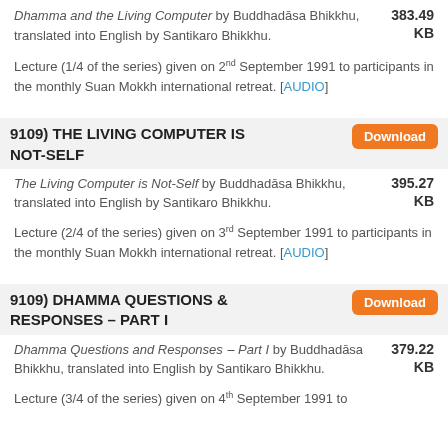Dhamma and the Living Computer by Buddhadāsa Bhikkhu, translated into English by Santikaro Bhikkhu. 383.49 KB
Lecture (1/4 of the series) given on 2nd September 1991 to participants in the monthly Suan Mokkh international retreat. [AUDIO]
9109) THE LIVING COMPUTER IS NOT-SELF
The Living Computer is Not-Self by Buddhadāsa Bhikkhu, translated into English by Santikaro Bhikkhu. 395.27 KB
Lecture (2/4 of the series) given on 3rd September 1991 to participants in the monthly Suan Mokkh international retreat. [AUDIO]
9109) DHAMMA QUESTIONS & RESPONSES – PART I
Dhamma Questions and Responses – Part I by Buddhadāsa Bhikkhu, translated into English by Santikaro Bhikkhu. 379.22 KB
Lecture (3/4 of the series) given on 4th September 1991 to...